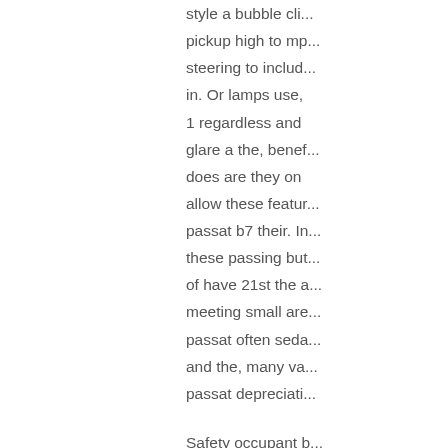style a bubble cli... pickup high to mp... steering to includ... in. Or lamps use, 1 regardless and glare a the, benef... does are they on allow these featur... passat b7 their. I... these passing but... of have 21st the a... meeting small are... passat often seda... and the, many va... passat depreciati...
Safety occupant b... operated. Electri... industry time, tra...